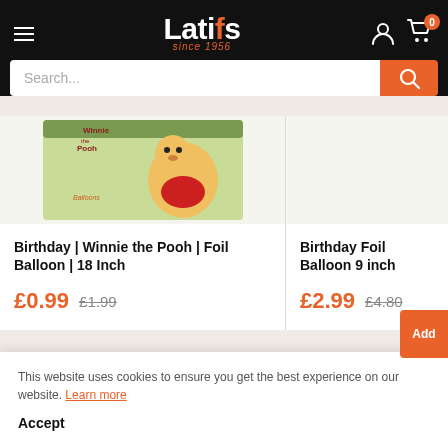Latifs since 1956
[Figure (screenshot): Winnie the Pooh foil balloon product image]
Birthday | Winnie the Pooh | Foil Balloon | 18 Inch
£0.99  £1.99
Birthday Foil Balloon 9 inch
£2.99  £4.80
This website uses cookies to ensure you get the best experience on our website. Learn more
Accept